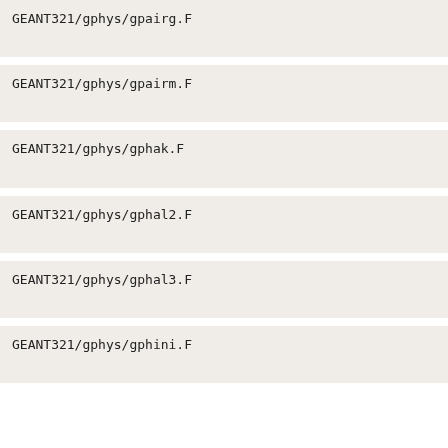GEANT321/gphys/gpairg.F
GEANT321/gphys/gpairm.F
GEANT321/gphys/gphak.F
GEANT321/gphys/gphal2.F
GEANT321/gphys/gphal3.F
GEANT321/gphys/gphini.F